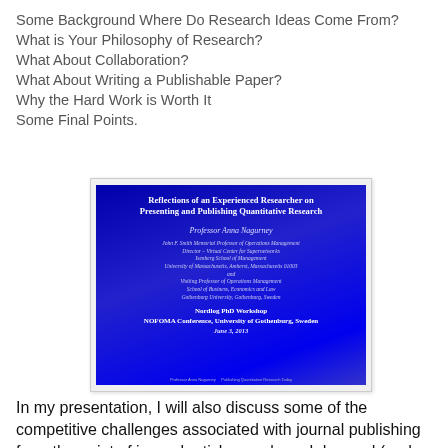Some Background Where Do Research Ideas Come From?
What is Your Philosophy of Research?
What About Collaboration?
What About Writing a Publishable Paper?
Why the Hard Work is Worth It
Some Final Points.
[Figure (screenshot): Slide titled 'Reflections of an Experienced Researcher on Presenting and Publishing Quantitative Research' by Professor Anna Nagurney, John F. Smith Memorial Professor of Operations Management, Director - Virtual Center for Supernetworks, Isenberg School of Management, University of Massachusetts, Amherst, Massachusetts 01003 and Visiting Professor of Operations Management, School of Business, Economics and Law, Gothenburg University, Gothenburg, Sweden. Nordlog PhD Workshop, NOFOMA Conference, University of Gothenburg, Sweden, June 3, 2013.]
In my presentation, I will also discuss some of the competitive challenges associated with journal publishing from the point of journal article supply and demand (and